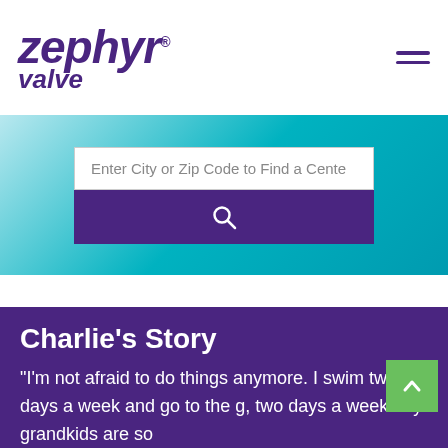[Figure (logo): Zephyr Valve logo in purple italic text with superscript registered trademark symbol]
[Figure (screenshot): Hamburger menu icon (three horizontal lines) in purple]
[Figure (screenshot): Teal gradient banner with a search input box labeled 'Enter City or Zip Code to Find a Center' and a purple search button with magnifying glass icon]
Charlie’s Story
“I’m not afraid to do things anymore. I swim two days a week and go to the g, two days a week. My grandkids are so